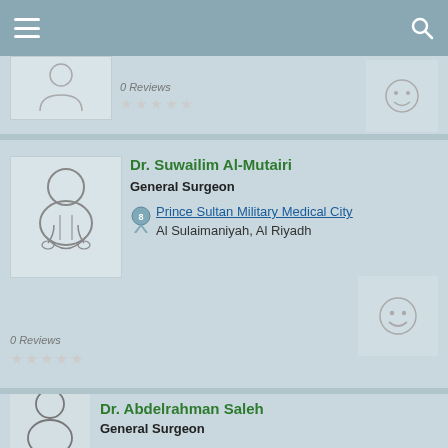[Figure (screenshot): Mobile app navigation bar with hamburger menu icon on left and search icon on right]
[Figure (screenshot): Partial doctor card showing 0 Reviews and 5 empty stars]
Dr. Suwailim Al-Mutairi
General Surgeon
Prince Sultan Military Medical City
Al Sulaimaniyah, Al Riyadh
0 Reviews
Dr. Abdelrahman Saleh
General Surgeon